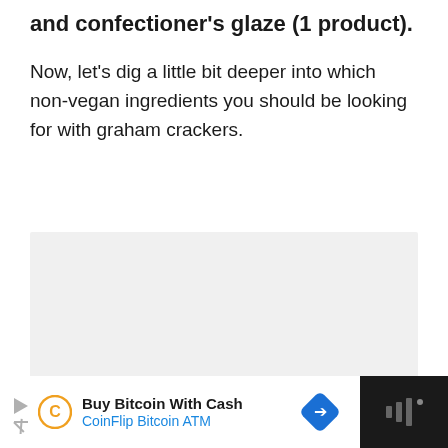and confectioner's glaze (1 product).
Now, let's dig a little bit deeper into which non-vegan ingredients you should be looking for with graham crackers.
[Figure (other): Gray placeholder box for an image or embedded content]
Buy Bitcoin With Cash CoinFlip Bitcoin ATM [advertisement bar]